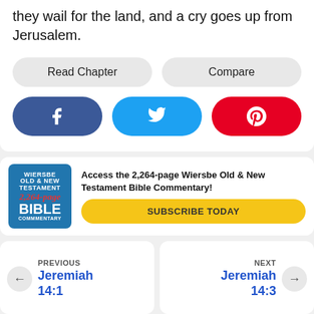they wail for the land, and a cry goes up from Jerusalem.
Read Chapter
Compare
[Figure (other): Social share buttons: Facebook (blue), Twitter (light blue), Pinterest (red)]
[Figure (other): Wiersbe Old & New Testament 2,264-page Bible Commentary book cover image]
Access the 2,264-page Wiersbe Old & New Testament Bible Commentary!
SUBSCRIBE TODAY
PREVIOUS
Jeremiah 14:1
NEXT
Jeremiah 14:3